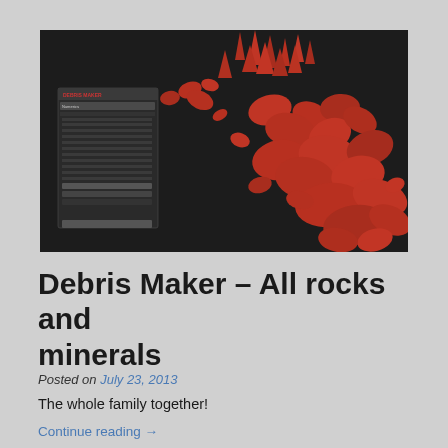[Figure (photo): 3D render of red/terracotta rocks and minerals scattered on a dark background, with a software UI panel (Debris Maker) visible on the left side. The rocks vary in size from sharp crystal-like formations at the top to flat pebble shapes at the bottom right.]
Debris Maker – All rocks and minerals
Posted on July 23, 2013
The whole family together!
Continue reading →